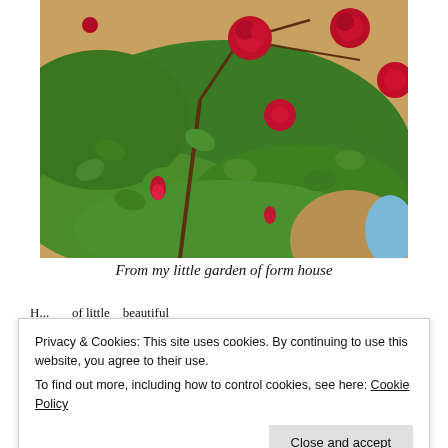[Figure (photo): Photo of a rose bush with red blooms and green foliage against a sandy/earthy background]
From my little garden of form house
H... ... of little ... beautiful ...
Privacy & Cookies: This site uses cookies. By continuing to use this website, you agree to their use. To find out more, including how to control cookies, see here: Cookie Policy
Close and accept